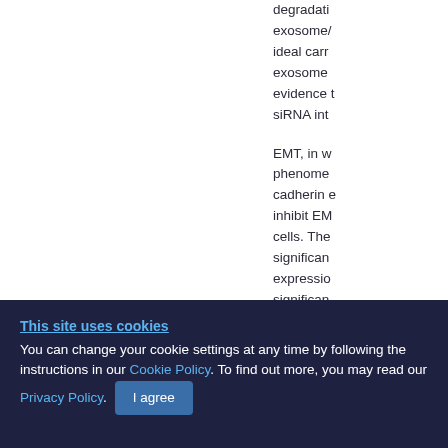degradation exosome/ ideal carr exosome evidence t siRNA int
EMT, in w phenome cadherin e inhibit EM cells. The significan expressio significan
This site uses cookies
You can change your cookie settings at any time by following the instructions in our Cookie Policy. To find out more, you may read our Privacy Policy.